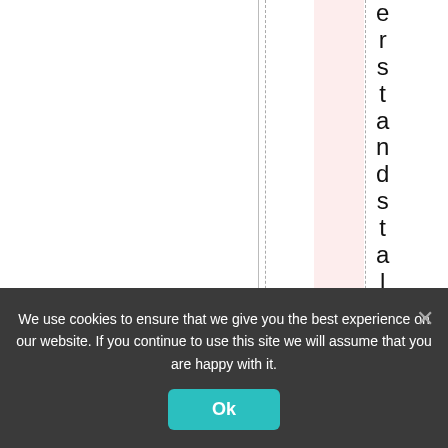[Figure (screenshot): Partial webpage screenshot showing a vertically rotated text reading 'erstands tall.' in a column layout with pink highlighted column and dashed borders, vote counts (thumbs up 22, thumbs down 1), a #11 label, and a partial blue button]
We use cookies to ensure that we give you the best experience on our website. If you continue to use this site we will assume that you are happy with it.
Ok